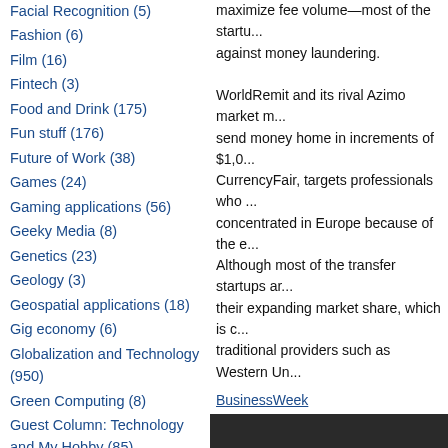Facial Recognition (5)
Fashion (6)
Film (16)
Fintech (3)
Food and Drink (175)
Fun stuff (176)
Future of Work (38)
Games (24)
Gaming applications (56)
Geeky Media (8)
Genetics (23)
Geology (3)
Geospatial applications (18)
Gig economy (6)
Globalization and Technology (950)
Green Computing (8)
Guest Column: Technology and My Hobby (85)
Guest Column: Technology and My Hobby (156)
maximize fee volume—most of the startu... against money laundering. WorldRemit and its rival Azimo market m... send money home in increments of $1,0... CurrencyFair, targets professionals who ... concentrated in Europe because of the e... Although most of the transfer startups ar... their expanding market share, which is c... traditional providers such as Western Un...
BusinessWeek
[Figure (screenshot): Dark video player placeholder with exclamation icon and partial text 'Thi']